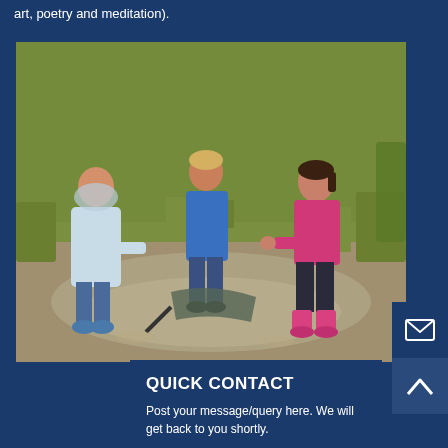art, poetry and meditation).
[Figure (photo): Three children playing in a muddy puddle in a grassy outdoor area. One child wears a white rain coat and blue boots, another wears a blue top and dark trousers, and a third wears a pink top and pink wellies.]
QUICK CONTACT
Post your message/query here. We will get back to you shortly.